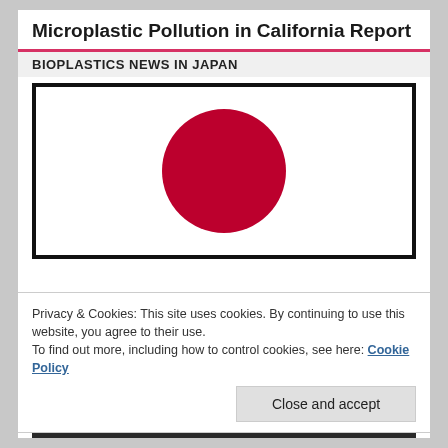Microplastic Pollution in California Report
BIOPLASTICS NEWS IN JAPAN
[Figure (illustration): Japanese flag — white rectangle with a red circle (rising sun) in the center, framed by a thick black border.]
Privacy & Cookies: This site uses cookies. By continuing to use this website, you agree to their use.
To find out more, including how to control cookies, see here: Cookie Policy
Close and accept
READ FREE CONTENT